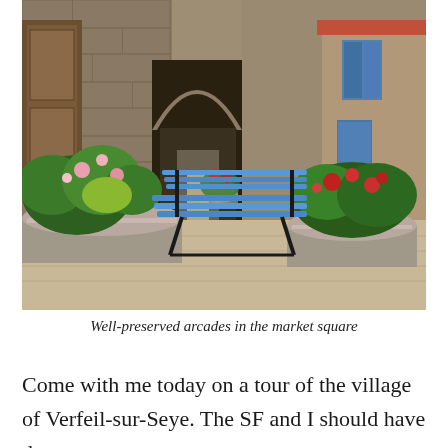[Figure (photo): A stone medieval arcade gateway in a village market square. A blue wooden bench sits in the center foreground. Large stone planters with lush green plants and pink and red flowers flank the path. The gateway arch leads to a narrow village street. To the right, a building with blue shuttered windows and doors is visible. The setting is a sunny day in a French village.]
Well-preserved arcades in the market square
Come with me today on a tour of the village of Verfeil-sur-Seye. The SF and I should have done